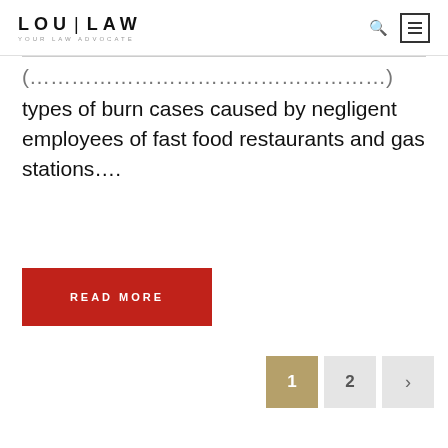LOU | LAW — YOUR LAW ADVOCATE
(…) types of burn cases caused by negligent employees of fast food restaurants and gas stations….
READ MORE
Pagination: 1, 2, >